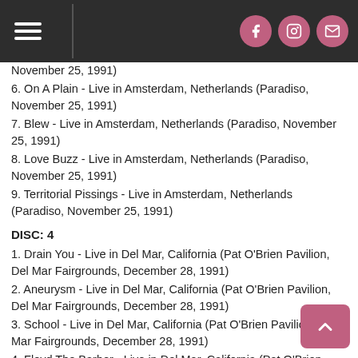Navigation header with hamburger menu and social icons (Facebook, Instagram, Email)
November 25, 1991)
6. On A Plain - Live in Amsterdam, Netherlands (Paradiso, November 25, 1991)
7. Blew - Live in Amsterdam, Netherlands (Paradiso, November 25, 1991)
8. Love Buzz - Live in Amsterdam, Netherlands (Paradiso, November 25, 1991)
9. Territorial Pissings - Live in Amsterdam, Netherlands (Paradiso, November 25, 1991)
DISC: 4
1. Drain You - Live in Del Mar, California (Pat O'Brien Pavilion, Del Mar Fairgrounds, December 28, 1991)
2. Aneurysm - Live in Del Mar, California (Pat O'Brien Pavilion, Del Mar Fairgrounds, December 28, 1991)
3. School - Live in Del Mar, California (Pat O'Brien Pavilion, Del Mar Fairgrounds, December 28, 1991)
4. Floyd The Barber - Live in Del Mar, California (Pat O'Brien Pavilion, Del Mar Fairgrounds, December 28, 1991)